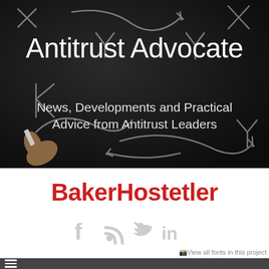[Figure (photo): Dark chalkboard background with chalk-drawn arrows, letters X and Y, and a hand holding chalk. White text 'Antitrust Advocate' and subtitle overlay the image.]
Antitrust Advocate
News, Developments and Practical Advice from Antitrust Leaders
[Figure (logo): BakerHostetler logo in red bold text]
[Figure (infographic): Social media icons: Facebook (f), RSS feed, Twitter (bird), LinkedIn (in) in light grey]
View all fonts in this project
[Figure (infographic): Dark grey bottom navigation bar with hamburger menu icon on left and search box in center]